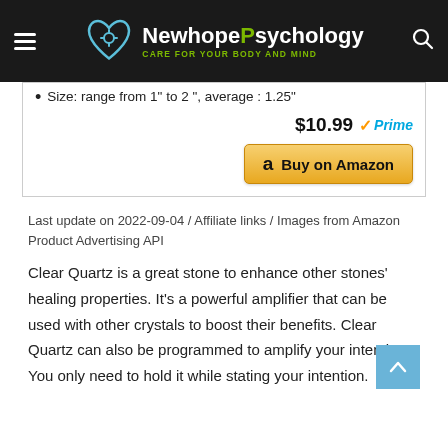[Figure (logo): NewhopePsychology website header with logo, hamburger menu, and search icon on dark background]
Size: range from 1" to 2 ", average : 1.25"
$10.99 ✓Prime
[Figure (other): Buy on Amazon button with Amazon logo]
Last update on 2022-09-04 / Affiliate links / Images from Amazon Product Advertising API
Clear Quartz is a great stone to enhance other stones' healing properties. It's a powerful amplifier that can be used with other crystals to boost their benefits. Clear Quartz can also be programmed to amplify your intentions. You only need to hold it while stating your intention.